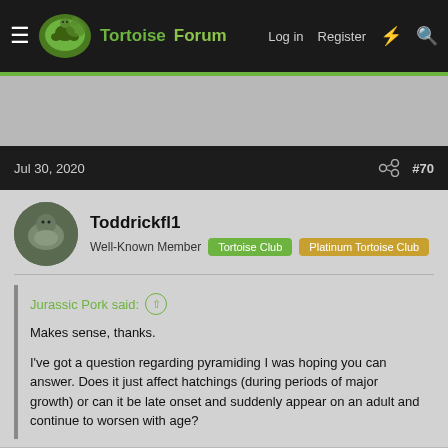TortoiseForum — Log in | Register
Jul 30, 2020 #70
Toddrickfl1
Well-Known Member  Tortoise Club  Platinum Tortoise Club
Jurassic Pork said:
Makes sense, thanks.

I've got a question regarding pyramiding I was hoping you can answer. Does it just affect hatchings (during periods of major growth) or can it be late onset and suddenly appear on an adult and continue to worsen with age?
Pyramiding in these guys either happens or doesn't happen within the first 1-2 years of growth. At that point if they're smooth they'll continue to grow smooth. Or if they're Pyramiding they'll